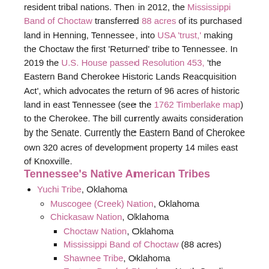resident tribal nations. Then in 2012, the Mississippi Band of Choctaw transferred 88 acres of its purchased land in Henning, Tennessee, into USA 'trust,' making the Choctaw the first 'Returned' tribe to Tennessee. In 2019 the U.S. House passed Resolution 453, 'the Eastern Band Cherokee Historic Lands Reacquisition Act', which advocates the return of 96 acres of historic land in east Tennessee (see the 1762 Timberlake map) to the Cherokee. The bill currently awaits consideration by the Senate. Currently the Eastern Band of Cherokee own 320 acres of development property 14 miles east of Knoxville.
Tennessee's Native American Tribes
Yuchi Tribe, Oklahoma
Muscogee (Creek) Nation, Oklahoma
Chickasaw Nation, Oklahoma
Choctaw Nation, Oklahoma
Mississippi Band of Choctaw (88 acres)
Shawnee Tribe, Oklahoma
Eastern Band of Cherokee, North Carolina (320 acres)
Cherokee Nation, Oklahoma